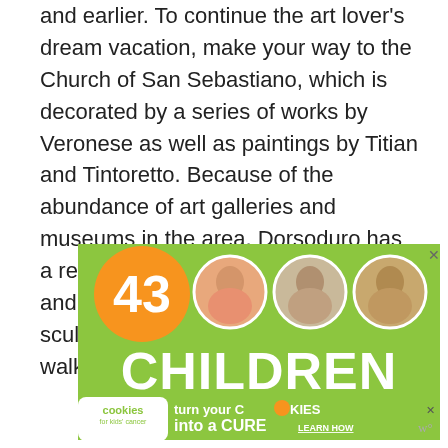and earlier. To continue the art lover’s dream vacation, make your way to the Church of San Sebastiano, which is decorated by a series of works by Veronese as well as paintings by Titian and Tintoretto. Because of the abundance of art galleries and museums in the area, Dorsoduro has a reputation for being an artsy area, and it draws in art students, painters, sculptors and the avant garde from all walks of life.
[Figure (infographic): Advertisement banner: orange circle with '43', three children's photos in circles, large text 'CHILDREN' on green background, bottom strip with 'cookies for kids cancer' badge and text 'turn your COOKIES into a CURE LEARN HOW']